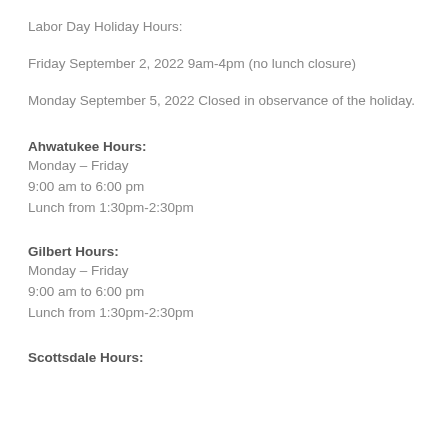Labor Day Holiday Hours:
Friday September 2, 2022 9am-4pm (no lunch closure)
Monday September 5, 2022 Closed in observance of the holiday.
Ahwatukee Hours:
Monday – Friday
9:00 am to 6:00 pm
Lunch from 1:30pm-2:30pm
Gilbert Hours:
Monday – Friday
9:00 am to 6:00 pm
Lunch from 1:30pm-2:30pm
Scottsdale Hours: